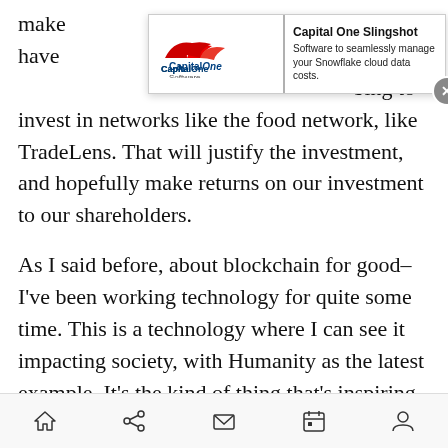make… have …bing to invest in networks like the food network, like TradeLens. That will justify the investment, and hopefully make returns on our investment to our shareholders.
[Figure (other): Capital One Software advertisement banner with logo on the left and text 'Capital One Slingshot — Software to seamlessly manage your Snowflake cloud data costs.' and a close (X) button.]
As I said before, about blockchain for good–I've been working technology for quite some time. This is a technology where I can see it impacting society, with Humanity as the latest example. It's the kind of thing that's inspiring about this technology. It's not just a technology. It's a way to behave. It's about the group accomplishing something that would be very difficult for one individual member to do by themselves. That's